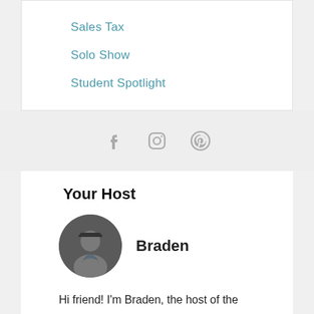Sales Tax
Solo Show
Student Spotlight
[Figure (infographic): Social media icons: Facebook, Instagram, Pinterest in gray]
Your Host
[Figure (photo): Circular profile photo of Braden, a man wearing a cap and gray jacket]
Braden
Hi friend! I'm Braden, the host of the Unf*ck Your Biz podcast. So excited that you're checking it out.